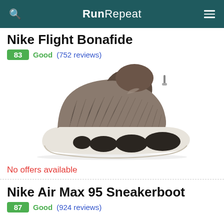RunRepeat
Nike Flight Bonafide
83 Good (752 reviews)
[Figure (photo): Side profile of a Nike Flight Bonafide shoe in brown/taupe knit upper with white bubble sole and dark oval cutouts]
No offers available
Nike Air Max 95 Sneakerboot
87 Good (924 reviews)